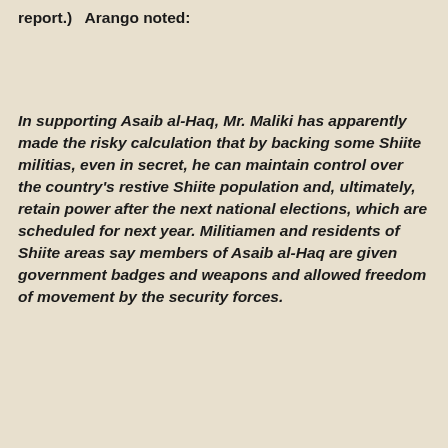report.)  Arango noted:
In supporting Asaib al-Haq, Mr. Maliki has apparently made the risky calculation that by backing some Shiite militias, even in secret, he can maintain control over the country's restive Shiite population and, ultimately, retain power after the next national elections, which are scheduled for next year. Militiamen and residents of Shiite areas say members of Asaib al-Haq are given government badges and weapons and allowed freedom of movement by the security forces.